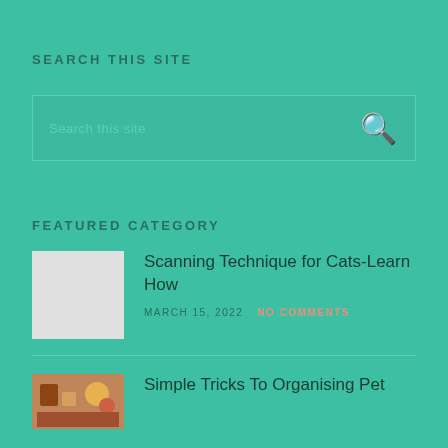SEARCH THIS SITE
[Figure (other): Search input box with placeholder text 'Search this site' and a search icon on the right]
FEATURED CATEGORY
[Figure (other): Blank grey thumbnail image placeholder for article]
Scanning Technique for Cats-Learn How
MARCH 15, 2022   NO COMMENTS
[Figure (photo): Colourful photo thumbnail for second article]
Simple Tricks To Organising Pet